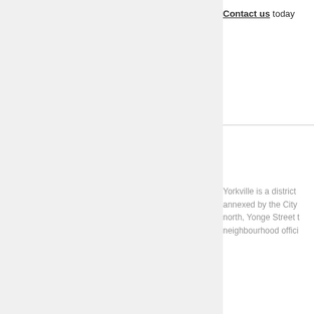Contact us today
Yorkville is a district annexed by the City north, Yonge Street t neighbourhood offici
Founded in 1830 by thoroughfares, is na as a residential subu survived into the 20t
In the 1960s, Yorkvill some of Canada's m well as then-undergr Yorkville was also kn College at the Unive education. Those inf